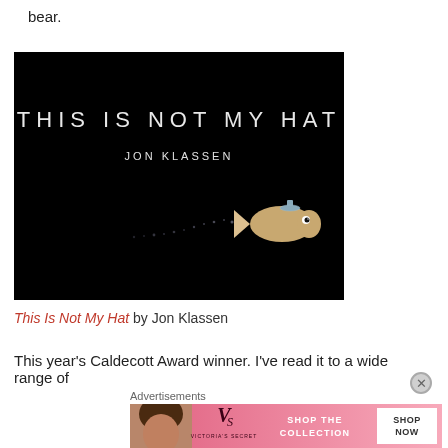bear.
[Figure (photo): Book cover of 'This Is Not My Hat' by Jon Klassen — black background with white title text and a small illustrated fish wearing a tiny blue hat, trailing bubbles]
This Is Not My Hat by Jon Klassen
This year's Caldecott Award winner. I've read it to a wide range of
Advertisements
[Figure (other): Victoria's Secret advertisement banner — pink background with VS logo, 'SHOP THE COLLECTION' text, and 'SHOP NOW' button, with a woman's photo on the left]